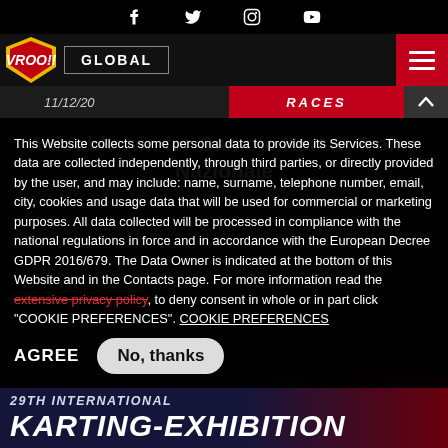Social icons: Facebook, Twitter, Instagram, YouTube
[Figure (logo): VROO!! logo shield (yellow and red) with GLOBAL navigation button and hamburger menu]
11/12/20 | RACES
A double win for Gamoto Kart at Trofeo Nazionale
This Website collects some personal data to provide its Services. These data are collected independently, through third parties, or directly provided by the user, and may include: name, surname, telephone number, email, city, cookies and usage data that will be used for commercial or marketing purposes. All data collected will be processed in compliance with the national regulations in force and in accordance with the European Decree GDPR 2016/679. The Data Owner is indicated at the bottom of this Website and in the Contacts page. For more information read the extensive privacy policy, to deny consent in whole or in part click "COOKIE PREFERENCES". COOKIE PREFERENCES
AGREE | No, thanks
[Figure (infographic): 29th INTERNATIONAL KARTING-EXHIBITION banner at the bottom]